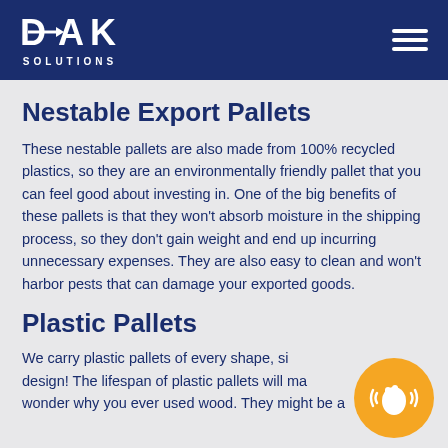DAK SOLUTIONS
Nestable Export Pallets
These nestable pallets are also made from 100% recycled plastics, so they are an environmentally friendly pallet that you can feel good about investing in. One of the big benefits of these pallets is that they won't absorb moisture in the shipping process, so they don't gain weight and end up incurring unnecessary expenses. They are also easy to clean and won't harbor pests that can damage your exported goods.
Plastic Pallets
We carry plastic pallets of every shape, size and design! The lifespan of plastic pallets will make you wonder why you ever used wood. They might be a
[Figure (illustration): Orange circular chat/help button with a white hand wave icon and sound wave lines]